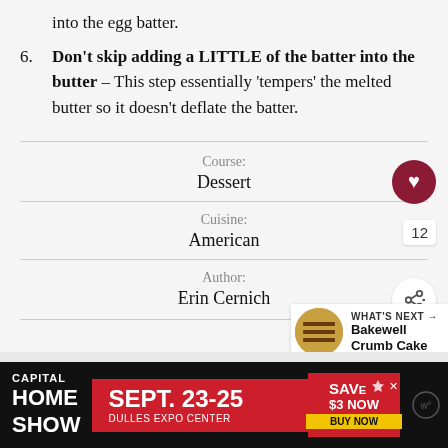into the egg batter.
Don't skip adding a LITTLE of the batter into the butter – This step essentially 'tempers' the melted butter so it doesn't deflate the batter.
Course: Dessert
Cuisine: American
Author: Erin Cernich
WHAT'S NEXT → Bakewell Crumb Cake
[Figure (infographic): Advertisement banner for Capital Home Show, Sept. 23-25, Dulles Expo Center, Save $3 Now, Buy Now button]